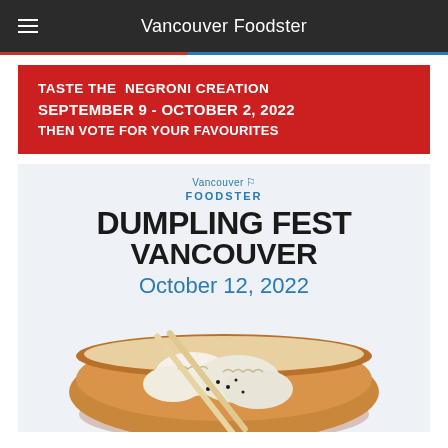Vancouver Foodster
[Figure (infographic): Red banner advertisement: TASTE THE NEGRONI CREATION, SEPTEMBER 9 - OCTOBER 2, 2022, THEN VOTE FOR YOUR FAVOURITES]
[Figure (infographic): Vancouver Foodster Dumpling Fest Vancouver poster, October 12, 2022, with photo of dumplings in a wooden bowl with chopsticks]